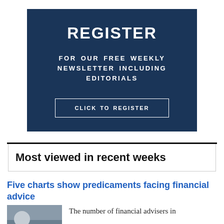[Figure (infographic): Dark navy blue registration advertisement box with bold white text 'REGISTER' at top, subtitle 'FOR OUR FREE WEEKLY NEWSLETTER INCLUDING EDITORIALS', and a white-bordered button 'CLICK TO REGISTER']
Most viewed in recent weeks
Five charts show predicaments facing financial advice
The number of financial advisers in